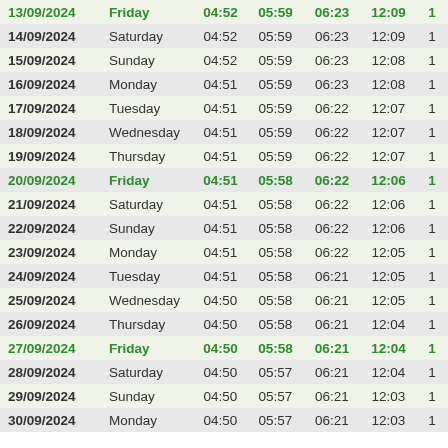| Date | Day | Col3 | Col4 | Col5 | Col6 | Col7 |
| --- | --- | --- | --- | --- | --- | --- |
| 13/09/2024 | Friday | 04:52 | 05:59 | 06:23 | 12:09 | 1 |
| 14/09/2024 | Saturday | 04:52 | 05:59 | 06:23 | 12:09 | 1 |
| 15/09/2024 | Sunday | 04:52 | 05:59 | 06:23 | 12:08 | 1 |
| 16/09/2024 | Monday | 04:51 | 05:59 | 06:23 | 12:08 | 1 |
| 17/09/2024 | Tuesday | 04:51 | 05:59 | 06:22 | 12:07 | 1 |
| 18/09/2024 | Wednesday | 04:51 | 05:59 | 06:22 | 12:07 | 1 |
| 19/09/2024 | Thursday | 04:51 | 05:59 | 06:22 | 12:07 | 1 |
| 20/09/2024 | Friday | 04:51 | 05:58 | 06:22 | 12:06 | 1 |
| 21/09/2024 | Saturday | 04:51 | 05:58 | 06:22 | 12:06 | 1 |
| 22/09/2024 | Sunday | 04:51 | 05:58 | 06:22 | 12:06 | 1 |
| 23/09/2024 | Monday | 04:51 | 05:58 | 06:22 | 12:05 | 1 |
| 24/09/2024 | Tuesday | 04:51 | 05:58 | 06:21 | 12:05 | 1 |
| 25/09/2024 | Wednesday | 04:50 | 05:58 | 06:21 | 12:05 | 1 |
| 26/09/2024 | Thursday | 04:50 | 05:58 | 06:21 | 12:04 | 1 |
| 27/09/2024 | Friday | 04:50 | 05:58 | 06:21 | 12:04 | 1 |
| 28/09/2024 | Saturday | 04:50 | 05:57 | 06:21 | 12:04 | 1 |
| 29/09/2024 | Sunday | 04:50 | 05:57 | 06:21 | 12:03 | 1 |
| 30/09/2024 | Monday | 04:50 | 05:57 | 06:21 | 12:03 | 1 |